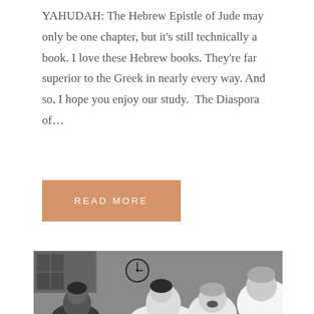YAHUDAH: The Hebrew Epistle of Jude may only be one chapter, but it's still technically a book. I love these Hebrew books. They're far superior to the Greek in nearly every way. And so, I hope you enjoy our study.  The Diaspora of...
READ MORE
[Figure (photo): A vintage black and white photograph showing a family scene in a kitchen. A child with mouth open in excitement is surrounded by adults leaning in. A wall clock is visible in the background.]